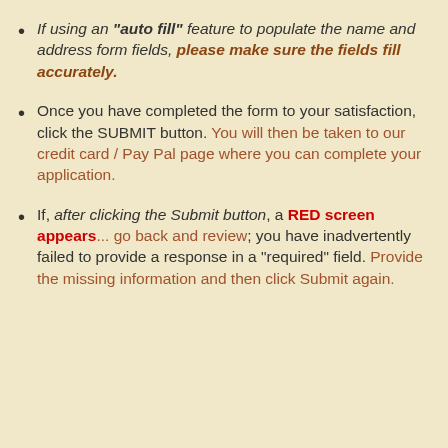If using an "auto fill" feature to populate the name and address form fields, please make sure the fields fill accurately.
Once you have completed the form to your satisfaction, click the SUBMIT button. You will then be taken to our credit card / Pay Pal page where you can complete your application.
If, after clicking the Submit button, a RED screen appears... go back and review; you have inadvertently failed to provide a response in a "required" field. Provide the missing information and then click Submit again.